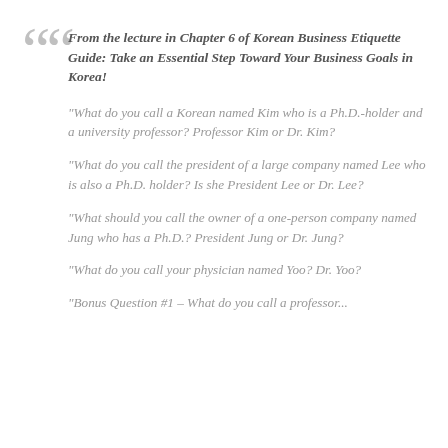““
From the lecture in Chapter 6 of Korean Business Etiquette Guide: Take an Essential Step Toward Your Business Goals in Korea!
“What do you call a Korean named Kim who is a Ph.D.-holder and a university professor? Professor Kim or Dr. Kim?
“What do you call the president of a large company named Lee who is also a Ph.D. holder? Is she President Lee or Dr. Lee?
“What should you call the owner of a one-person company named Jung who has a Ph.D.? President Jung or Dr. Jung?
“What do you call your physician named Yoo? Dr. Yoo?
“Bonus Question #1 – What do you call a professor...